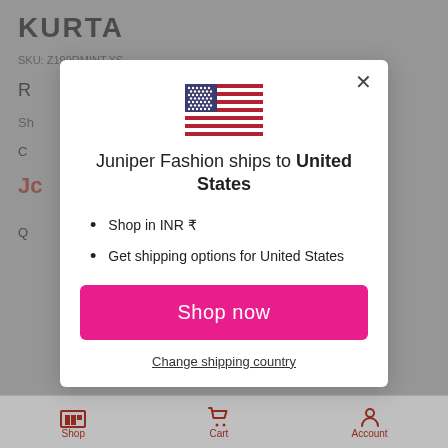[Figure (screenshot): Background of a shopping product page with header 'KURTA', SKU, and other product details partially visible behind a modal dialog]
[Figure (illustration): US flag emoji/illustration centered at the top of the modal dialog]
Juniper Fashion ships to United States
Shop in INR ₹
Get shipping options for United States
Shop now
Change shipping country